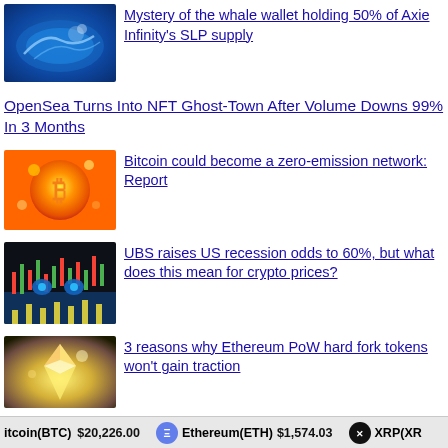[Figure (illustration): Blue whale swimming illustration]
Mystery of the whale wallet holding 50% of Axie Infinity's SLP supply
OpenSea Turns Into NFT Ghost-Town After Volume Downs 99% In 3 Months
[Figure (illustration): Bitcoin character with fire/explosion illustration]
Bitcoin could become a zero-emission network: Report
[Figure (illustration): Trading chart with face/eyes recession illustration]
UBS raises US recession odds to 60%, but what does this mean for crypto prices?
[Figure (illustration): Ethereum PoW hard fork glowing crystals illustration]
3 reasons why Ethereum PoW hard fork tokens won't gain traction
itcoin(BTC) $20,226.00   Ethereum(ETH) $1,574.03   XRP(XR